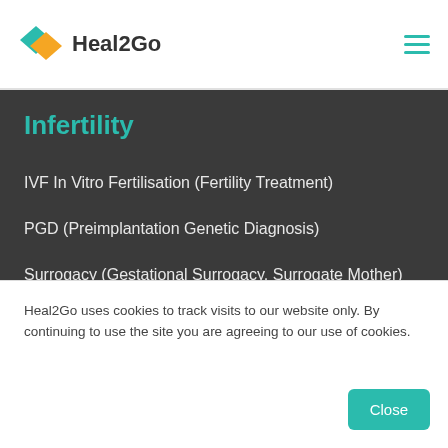Heal2Go
Infertility
IVF In Vitro Fertilisation (Fertility Treatment)
PGD (Preimplantation Genetic Diagnosis)
Surrogacy (Gestational Surrogacy, Surrogate Mother)
Donor Egg IVF with Donor Sperm
IVF with ICSI
Orthopedic Surgery
Heal2Go uses cookies to track visits to our website only. By continuing to use the site you are agreeing to our use of cookies.